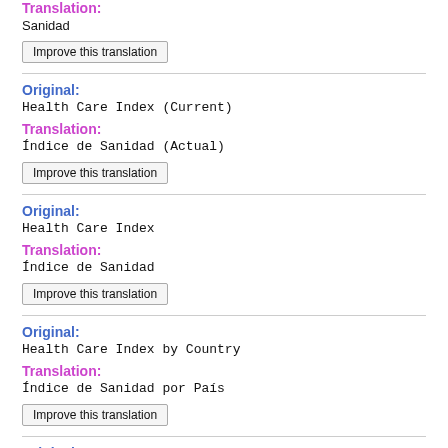Translation:
Sanidad
Improve this translation
Original:
Health Care Index (Current)
Translation:
Índice de Sanidad (Actual)
Improve this translation
Original:
Health Care Index
Translation:
Índice de Sanidad
Improve this translation
Original:
Health Care Index by Country
Translation:
Índice de Sanidad por País
Improve this translation
Original: